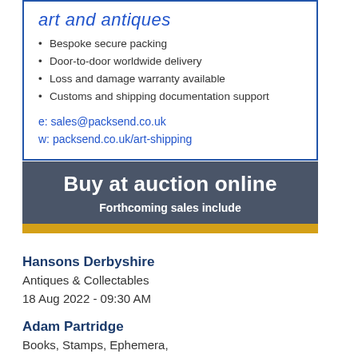art and antiques
Bespoke secure packing
Door-to-door worldwide delivery
Loss and damage warranty available
Customs and shipping documentation support
e: sales@packsend.co.uk
w: packsend.co.uk/art-shipping
Buy at auction online
Forthcoming sales include
Hansons Derbyshire
Antiques & Collectables
18 Aug 2022 - 09:30 AM
Adam Partridge
Books, Stamps, Ephemera,
Furniture & Interiors